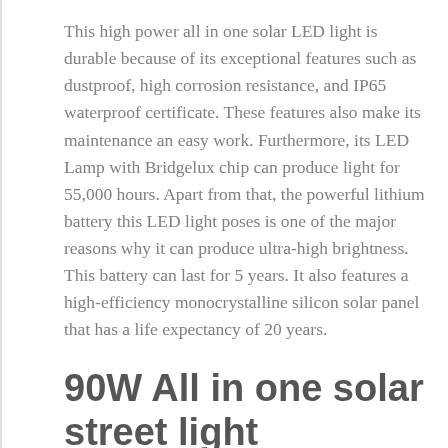This high power all in one solar LED light is durable because of its exceptional features such as dustproof, high corrosion resistance, and IP65 waterproof certificate. These features also make its maintenance an easy work. Furthermore, its LED Lamp with Bridgelux chip can produce light for 55,000 hours. Apart from that, the powerful lithium battery this LED light poses is one of the major reasons why it can produce ultra-high brightness. This battery can last for 5 years. It also features a high-efficiency monocrystalline silicon solar panel that has a life expectancy of 20 years.
90W All in one solar street light technical